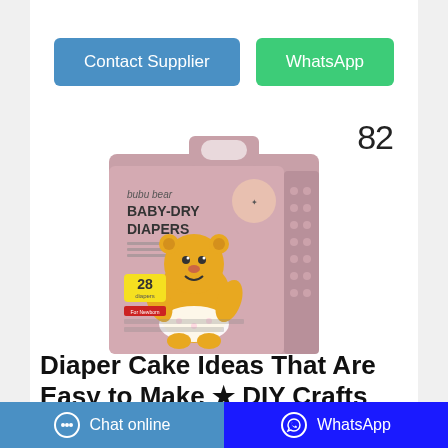Contact Supplier
WhatsApp
82
[Figure (photo): bubu bear BABY-DRY DIAPERS package with cartoon bear character, 28 count, pink/mauve colored packaging]
Diaper Cake Ideas That Are Easy to Make ★ DIY Crafts
This is not the diaper cake but can be added to
Chat online   WhatsApp